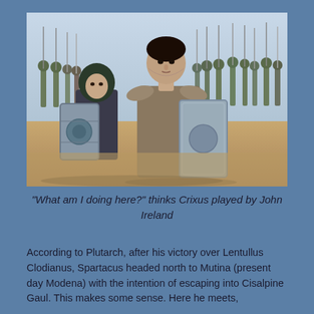[Figure (photo): Movie still showing two gladiators/warriors in armor holding large rectangular shields, with rows of soldiers holding spears visible in the background on a dusty battlefield. The main figure in the foreground is a muscular man in chain-mail armor. A second figure to his left wears a dark hood.]
"What am I doing here?" thinks Crixus played by John Ireland
According to Plutarch, after his victory over Lentullus Clodianus, Spartacus headed north to Mutina (present day Modena) with the intention of escaping into Cisalpine Gaul. This makes some sense. Here he meets,